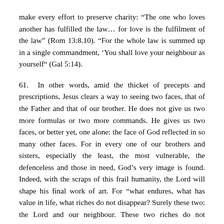make every effort to preserve charity: “The one who loves another has fulfilled the law… for love is the fulfilment of the law” (Rom 13:8.10). “For the whole law is summed up in a single commandment, ‘You shall love your neighbour as yourself”’ (Gal 5:14).
61. In other words, amid the thicket of precepts and prescriptions, Jesus clears a way to seeing two faces, that of the Father and that of our brother. He does not give us two more formulas or two more commands. He gives us two faces, or better yet, one alone: the face of God reflected in so many other faces. For in every one of our brothers and sisters, especially the least, the most vulnerable, the defenceless and those in need, God’s very image is found. Indeed, with the scraps of this frail humanity, the Lord will shape his final work of art. For “what endures, what has value in life, what riches do not disappear? Surely these two: the Lord and our neighbour. These two riches do not disappear!”[65]